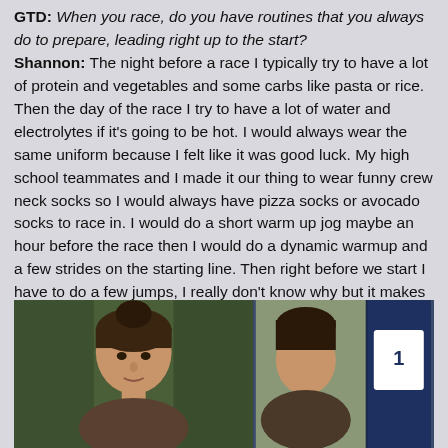GTD: When you race, do you have routines that you always do to prepare, leading right up to the start? Shannon: The night before a race I typically try to have a lot of protein and vegetables and some carbs like pasta or rice. Then the day of the race I try to have a lot of water and electrolytes if it's going to be hot. I would always wear the same uniform because I felt like it was good luck. My high school teammates and I made it our thing to wear funny crew neck socks so I would always have pizza socks or avocado socks to race in. I would do a short warm up jog maybe an hour before the race then I would do a dynamic warmup and a few strides on the starting line. Then right before we start I have to do a few jumps, I really don't know why but it makes me feel better. Before races I get a lot quieter because I really like to focus on what I'm doing and try to visualize the race.
[Figure (photo): Two side-by-side photos of a person (athlete Shannon), showing a close-up portrait on the left with dark background foliage, and a cropped/split image on the right with blue background.]